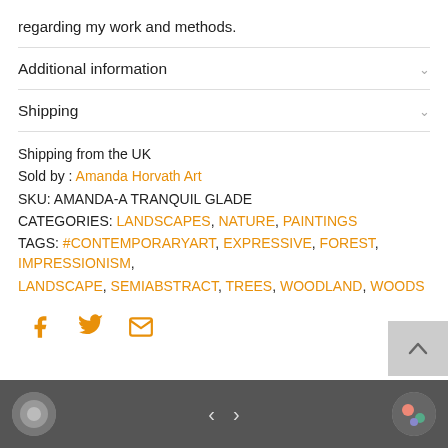regarding my work and methods.
Additional information
Shipping
Shipping from the UK
Sold by : Amanda Horvath Art
SKU: AMANDA-A TRANQUIL GLADE
CATEGORIES: LANDSCAPES, NATURE, PAINTINGS
TAGS: #CONTEMPORARYART, EXPRESSIVE, FOREST, IMPRESSIONISM, LANDSCAPE, SEMIABSTRACT, TREES, WOODLAND, WOODS
[Figure (infographic): Social share icons: Facebook (f), Twitter (bird), Email (envelope) in orange]
Navigation footer with thumbnail images and prev/next arrows